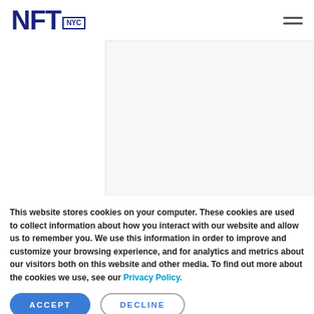NFT NYC
[Figure (other): Large white/light gray image placeholder area visible behind the cookie consent overlay]
This website stores cookies on your computer. These cookies are used to collect information about how you interact with our website and allow us to remember you. We use this information in order to improve and customize your browsing experience, and for analytics and metrics about our visitors both on this website and other media. To find out more about the cookies we use, see our Privacy Policy.
ACCEPT
DECLINE
Jeffrey Hayzlett - Primetime TV Host - Hall of Fame Business Celebrity
Jeffrey Hayzlett New York